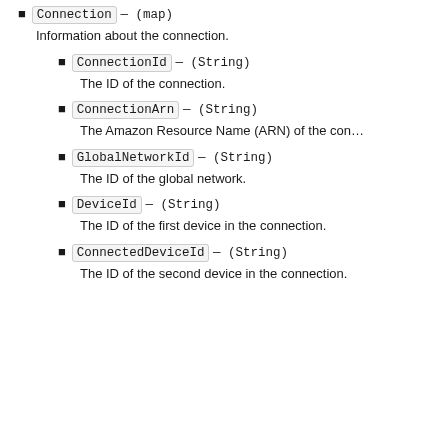Connection — (map)
Information about the connection.
ConnectionId — (String)
The ID of the connection.
ConnectionArn — (String)
The Amazon Resource Name (ARN) of the con…
GlobalNetworkId — (String)
The ID of the global network.
DeviceId — (String)
The ID of the first device in the connection.
ConnectedDeviceId — (String)
The ID of the second device in the connection.